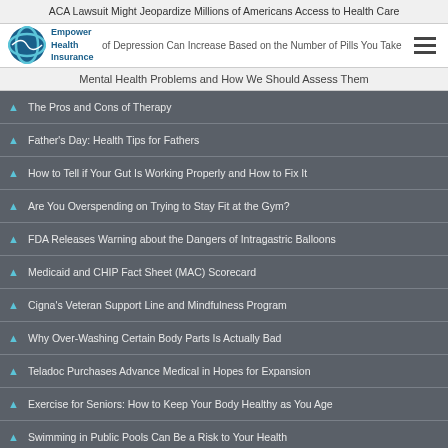ACA Lawsuit Might Jeopardize Millions of Americans Access to Health Care
Empower Health Insurance
of Depression Can Increase Based on the Number of Pills You Take
Mental Health Problems and How We Should Assess Them
The Pros and Cons of Therapy
Father's Day: Health Tips for Fathers
How to Tell if Your Gut Is Working Properly and How to Fix It
Are You Overspending on Trying to Stay Fit at the Gym?
FDA Releases Warning about the Dangers of Intragastric Balloons
Medicaid and CHIP Fact Sheet (MAC) Scorecard
Cigna's Veteran Support Line and Mindfulness Program
Why Over-Washing Certain Body Parts Is Actually Bad
Teladoc Purchases Advance Medical in Hopes for Expansion
Exercise for Seniors: How to Keep Your Body Healthy as You Age
Swimming in Public Pools Can Be a Risk to Your Health
The Pros and Cons of Drinking Milk That You Should Consider
Will Anthem's Merger with Aspire Give Them a Competitive Edge?
Inactivity Affects Your Health in More Than One Way
Leg Workouts Increase Brain Functions According to New Study
Memorial Day 2018: How to Celebrate To Celebrate Patriotically